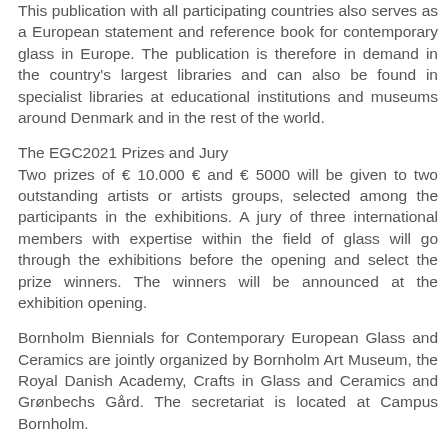This publication with all participating countries also serves as a European statement and reference book for contemporary glass in Europe. The publication is therefore in demand in the country's largest libraries and can also be found in specialist libraries at educational institutions and museums around Denmark and in the rest of the world.
The EGC2021 Prizes and Jury
Two prizes of € 10.000 € and € 5000 will be given to two outstanding artists or artists groups, selected among the participants in the exhibitions. A jury of three international members with expertise within the field of glass will go through the exhibitions before the opening and select the prize winners. The winners will be announced at the exhibition opening.
Bornholm Biennials for Contemporary European Glass and Ceramics are jointly organized by Bornholm Art Museum, the Royal Danish Academy, Crafts in Glass and Ceramics and Grønbechs Gård. The secretariat is located at Campus Bornholm.
Royal Danish Academy, Architecture, Design, Conservation